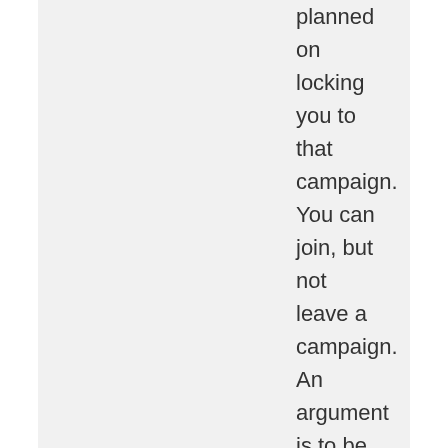planned on locking you to that campaign. You can join, but not leave a campaign. An argument is to be had on what you do with Alts at that point, but lets be honest, none of this indicates that this game is more Guild Wars 1/CoD Lobby-like then a World of Warcraft title is.
★ Like
C. T. Murphy on March 3, 2015 at 10:51 pm
Does World of Warcraft cease to be a MMO when all I do is bounce between capitals (lobbies) and my Garrison (personal space) while waiting for a queue to visit a "world"